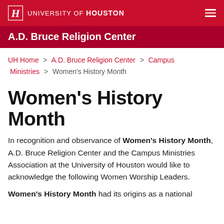University of Houston
A.D. Bruce Religion Center
UH Home > A.D. Bruce Religion Center > Campus Ministries > Women's History Month
Women's History Month
In recognition and observance of Women's History Month, A.D. Bruce Religion Center and the Campus Ministries Association at the University of Houston would like to acknowledge the following Women Worship Leaders.
Women's History Month had its origins as a national